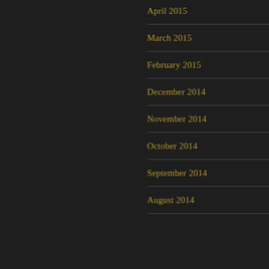April 2015
March 2015
February 2015
December 2014
November 2014
October 2014
September 2014
August 2014